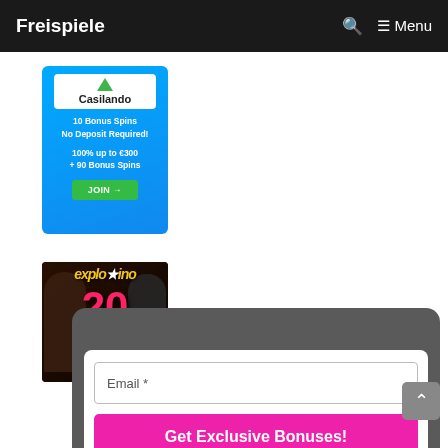Freispiele  🔍  ≡ Menu
[Figure (photo): Casilando casino advertisement banner: blue background, white logo box with green triangle and 'Casilando' text, '10 Bonus Spins No Deposit Required! 100% up to €300 + 90 Bonus Spins', green JOIN button]
[Figure (photo): Explosino casino advertisement: dark western-themed background with two cowboys/skull characters, large pink '20' number, 'explo sino' stylized text, 'FREE SPINS' text at bottom]
Email *
Get Exclusive Bonuses!